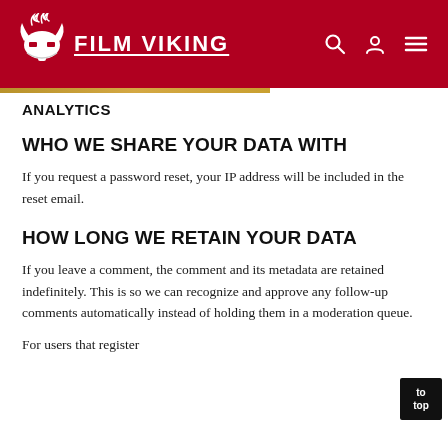FILM VIKING
ANALYTICS
WHO WE SHARE YOUR DATA WITH
If you request a password reset, your IP address will be included in the reset email.
HOW LONG WE RETAIN YOUR DATA
If you leave a comment, the comment and its metadata are retained indefinitely. This is so we can recognize and approve any follow-up comments automatically instead of holding them in a moderation queue.
For users that register...